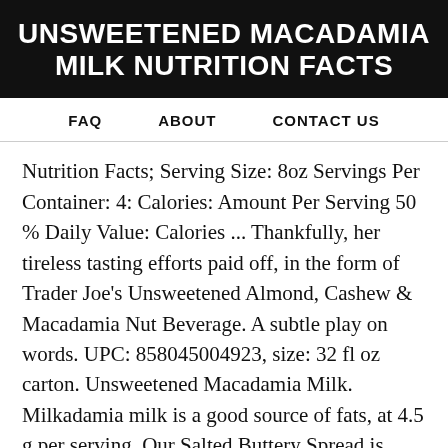UNSWEETENED MACADAMIA MILK NUTRITION FACTS
FAQ   ABOUT   CONTACT US
Nutrition Facts; Serving Size: 8oz Servings Per Container: 4: Calories: Amount Per Serving 50 % Daily Value: Calories ... Thankfully, her tireless tasting efforts paid off, in the form of Trader Joe's Unsweetened Almond, Cashew & Macadamia Nut Beverage. A subtle play on words. UPC: 858045004923, size: 32 fl oz carton. Unsweetened Macadamia Milk. Milkadamia milk is a good source of fats, at 4.5 g per serving. Our Salted Buttery Spread is palm oil-free, dairy-free and delicious on everything. 1 quart. Log In. Our unsweetened...